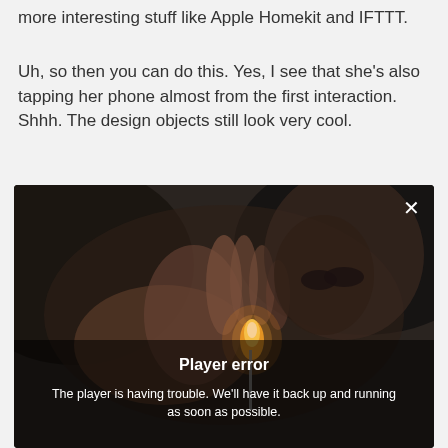more interesting stuff like Apple Homekit and IFTTT.
Uh, so then you can do this. Yes, I see that she's also tapping her phone almost from the first interaction. Shhh. The design objects still look very cool.
[Figure (screenshot): Video player screenshot showing a person lighting a match in a dark scene, with a 'Player error' overlay message. The overlay reads: 'Player error' (bold) and 'The player is having trouble. We'll have it back up and running as soon as possible.' A close (X) button appears in the top-right corner.]